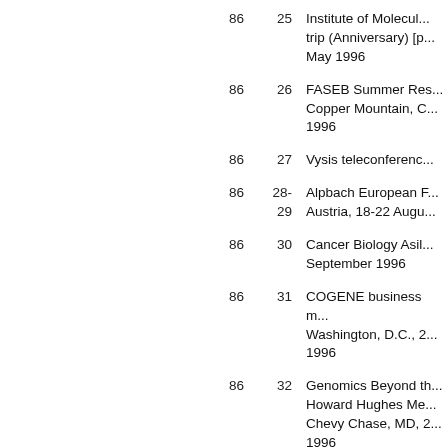86  25  Institute of Molecul... trip (Anniversary) [p... May 1996
86  26  FASEB Summer Res... Copper Mountain, C... 1996
86  27  Vysis teleconferenc...
86  28-29  Alpbach European F... Austria, 18-22 Augu...
86  30  Cancer Biology Asil... September 1996
86  31  COGENE business m... Washington, D.C., 2... 1996
86  32  Genomics Beyond th... Howard Hughes Me... Chevy Chase, MD, 2... 1996
86  33-34  International OJI Se... Japan [photograph],... 1996
86  35  Keystone Symposia...